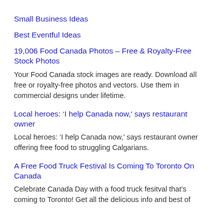Small Business Ideas
Best Eventful Ideas
19,006 Food Canada Photos – Free & Royalty-Free Stock Photos
Your Food Canada stock images are ready. Download all free or royalty-free photos and vectors. Use them in commercial designs under lifetime.
Local heroes: ‘I help Canada now,’ says restaurant owner
Local heroes: ‘I help Canada now,’ says restaurant owner offering free food to struggling Calgarians.
A Free Food Truck Festival Is Coming To Toronto On Canada
Celebrate Canada Day with a food truck fesitval that’s coming to Toronto! Get all the delicious info and best of